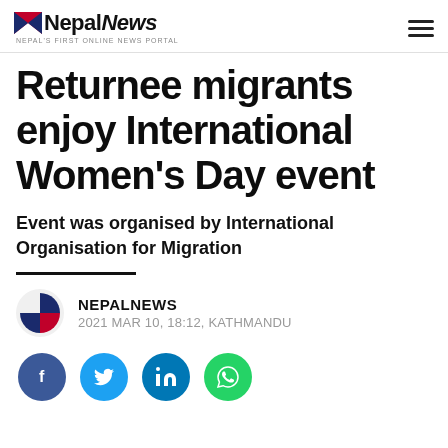NepālNews — Nepal's First Online News Portal
Returnee migrants enjoy International Women's Day event
Event was organised by International Organisation for Migration
NEPALNEWS — 2021 MAR 10, 18:12, KATHMANDU
[Figure (logo): Social share icons: Facebook, Twitter, LinkedIn, WhatsApp]